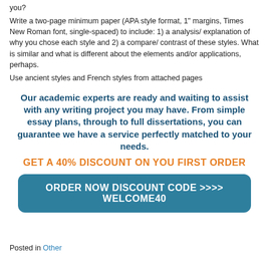you?
Write a two-page minimum paper (APA style format, 1" margins, Times New Roman font, single-spaced) to include: 1) a analysis/ explanation of why you chose each style and 2) a compare/ contrast of these styles. What is similar and what is different about the elements and/or applications, perhaps.
Use ancient styles and French styles from attached pages
Our academic experts are ready and waiting to assist with any writing project you may have. From simple essay plans, through to full dissertations, you can guarantee we have a service perfectly matched to your needs.
GET A 40% DISCOUNT ON YOU FIRST ORDER
ORDER NOW DISCOUNT CODE >>>> WELCOME40
Posted in Other